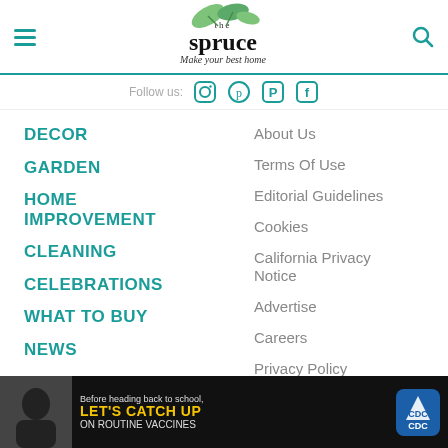The Spruce — Make your best home
Follow us:
DECOR
GARDEN
HOME IMPROVEMENT
CLEANING
CELEBRATIONS
WHAT TO BUY
NEWS
About Us
Terms Of Use
Editorial Guidelines
Cookies
California Privacy Notice
Advertise
Careers
Privacy Policy
[Figure (screenshot): CDC advertisement: Before heading back to school, LET'S CATCH UP ON ROUTINE VACCINES]